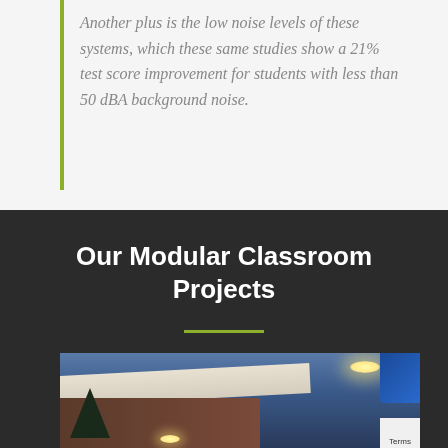Another plus is the low noise levels of these systems, which these same studies show a 21% test score improvement for students with less than 50 dBA background noise.
Our Modular Classroom Projects
[Figure (photo): Exterior photograph of a modular classroom building at dusk/evening, showing a covered walkway overhang with ceiling lights, red/brown building wall, and trees silhouetted against a blue sky.]